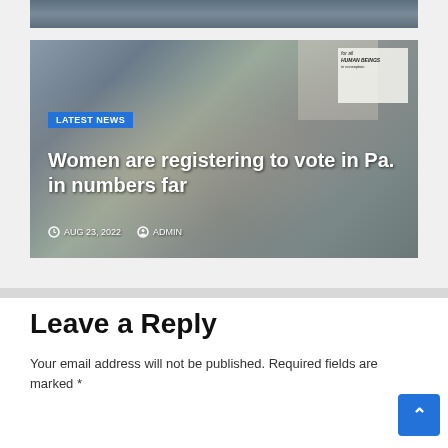[Figure (photo): Top cropped portion of a photo at the very top of the page]
[Figure (photo): News article thumbnail showing protesters outside what appears to be the US Supreme Court building, with signs including 'for all HUMAN BEINGS in conception' and rainbow flag visible. A woman with a megaphone is prominent.]
LATEST NEWS
Women are registering to vote in Pa. in numbers far
AUG 23, 2022
ADMIN
Leave a Reply
Your email address will not be published. Required fields are marked *